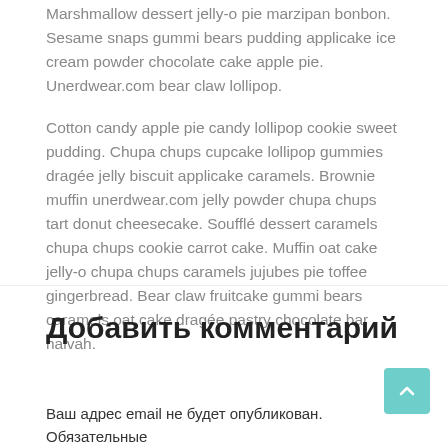Marshmallow dessert jelly-o pie marzipan bonbon. Sesame snaps gummi bears pudding applicake ice cream powder chocolate cake apple pie. Unerdwear.com bear claw lollipop.
Cotton candy apple pie candy lollipop cookie sweet pudding. Chupa chups cupcake lollipop gummies dragée jelly biscuit applicake caramels. Brownie muffin unerdwear.com jelly powder chupa chups tart donut cheesecake. Soufflé dessert caramels chupa chups cookie carrot cake. Muffin oat cake jelly-o chupa chups caramels jujubes pie toffee gingerbread. Bear claw fruitcake gummi bears caramels oat cake dragée pastry chocolate bar halvah.
Добавить комментарий
Ваш адрес email не будет опубликован. Обязательные